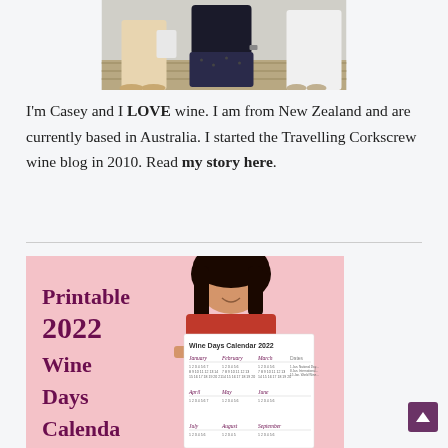[Figure (photo): Cropped photo showing two people from torso down, standing outdoors on what appears to be a deck. One person wearing shorts and sandals, another in dark clothing.]
I'm Casey and I LOVE wine. I am from New Zealand and are currently based in Australia. I started the Travelling Corkscrew wine blog in 2010. Read my story here.
[Figure (photo): Promotional image for 'Printable 2022 Wine Days Calendar' showing a woman in red holding a calendar printout. Pink background with purple text on left side. Calendar grid visible on right portion.]